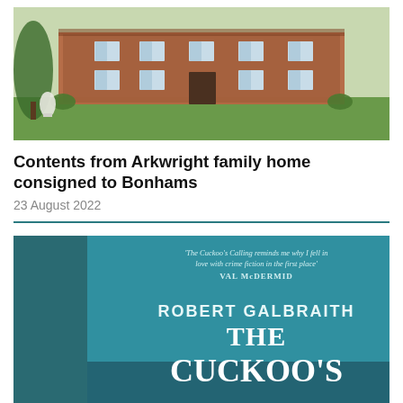[Figure (photo): Exterior photo of a red brick Georgian country house with green lawn and trees in the foreground]
Contents from Arkwright family home consigned to Bonhams
23 August 2022
[Figure (photo): Book cover of 'The Cuckoo's Calling' by Robert Galbraith, with a teal/blue cover showing the title text and a quote from Val McDermid]